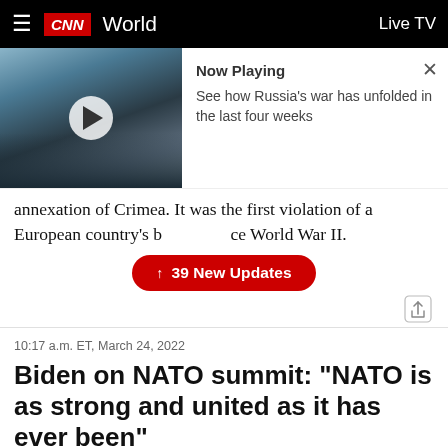CNN World — Live TV
[Figure (screenshot): Video thumbnail showing war damage/rubble with a play button overlay, and a 'Now Playing' popup panel showing text 'See how Russia's war has unfolded in the last four weeks' with a close (X) button]
annexation of Crimea. It was the first violation of a European country's borders since World War II.
↑ 39 New Updates
10:17 a.m. ET, March 24, 2022
Biden on NATO summit: "NATO is as strong and united as it has ever been"
From CNN's Allie Malloy
[Figure (photo): Partial bottom image strip showing dark/shadowed photograph]